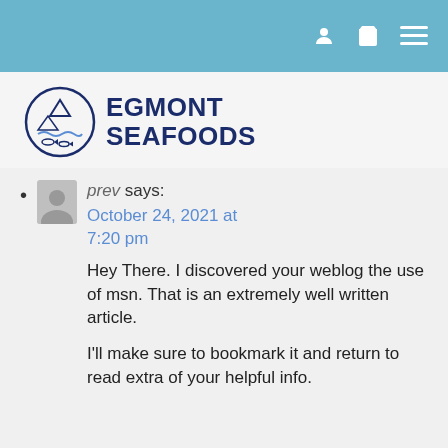Navigation bar with user, cart, and menu icons
[Figure (logo): Egmont Seafoods logo: circular emblem with fish and waves, beside bold text EGMONT SEAFOODS]
prev says:
October 24, 2021 at 7:20 pm
Hey There. I discovered your weblog the use of msn. That is an extremely well written article.

I'll make sure to bookmark it and return to read extra of your helpful info.